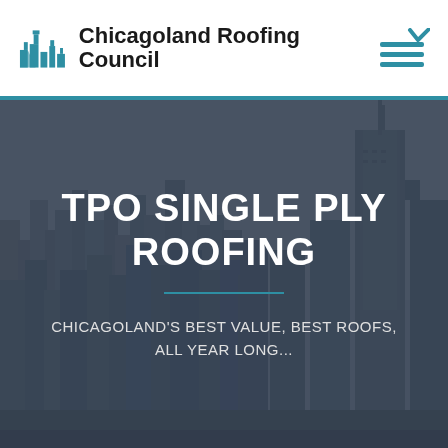Chicagoland Roofing Council
[Figure (illustration): City skyline of Chicago in dark overlay with skyscrapers including Willis Tower]
TPO SINGLE PLY ROOFING
CHICAGOLAND'S BEST VALUE, BEST ROOFS, ALL YEAR LONG...